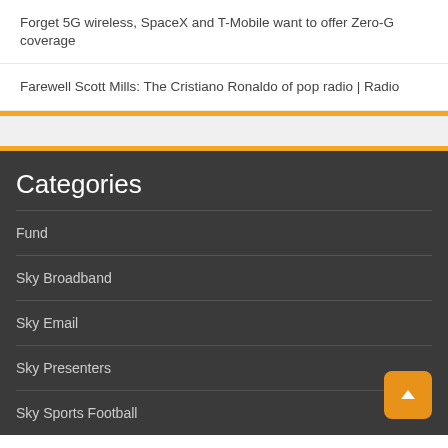Forget 5G wireless, SpaceX and T-Mobile want to offer Zero-G coverage
Farewell Scott Mills: The Cristiano Ronaldo of pop radio | Radio
Categories
Fund
Sky Broadband
Sky Email
Sky Presenters
Sky Sports Football